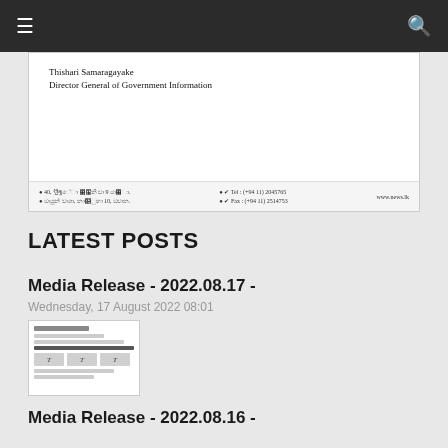Navigation bar with hamburger menu and search icon
[Figure (screenshot): Scanned government document showing name 'Thishari Samaragayake' and title 'Director General of Government Information', with a footer containing address and contact information.]
LATEST POSTS
Media Release - 2022.08.17 -
Wednesday, 17 August 2022 08:01
[Figure (screenshot): Thumbnail image of a media release document with form fields and T | T | T formatting buttons.]
Media Release - 2022.08.16 -